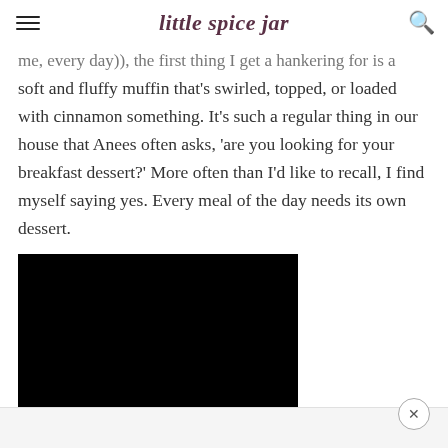little spice jar
me, every day)), the first thing I get a hankering for is a soft and fluffy muffin that's swirled, topped, or loaded with cinnamon something. It's such a regular thing in our house that Anees often asks, 'are you looking for your breakfast dessert?' More often than I'd like to recall, I find myself saying yes. Every meal of the day needs its own dessert.
[Figure (photo): Black rectangle representing an embedded video or image block]